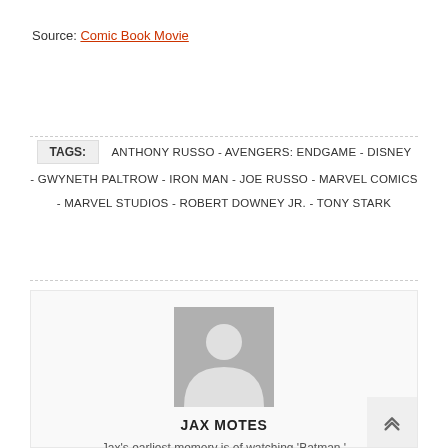Source: Comic Book Movie
TAGS: ANTHONY RUSSO - AVENGERS: ENDGAME - DISNEY - GWYNETH PALTROW - IRON MAN - JOE RUSSO - MARVEL COMICS - MARVEL STUDIOS - ROBERT DOWNEY JR. - TONY STARK
[Figure (illustration): Generic user avatar placeholder image — grey silhouette of a person on a grey background]
JAX MOTES
Jax's earliest memory is of watching 'Batman '